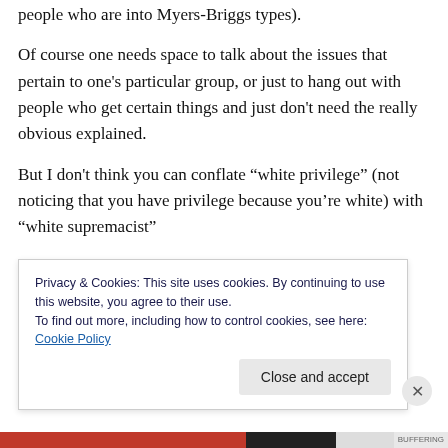people who are into Myers-Briggs types).
Of course one needs space to talk about the issues that pertain to one's particular group, or just to hang out with people who get certain things and just don't need the really obvious explained.
But I don't think you can conflate “white privilege” (not noticing that you have privilege because you’re white) with “white supremacist”
Privacy & Cookies: This site uses cookies. By continuing to use this website, you agree to their use.
To find out more, including how to control cookies, see here: Cookie Policy
Close and accept